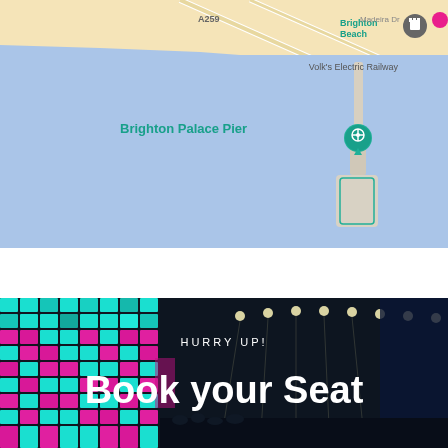[Figure (map): Google Maps screenshot showing Brighton Palace Pier extending into the sea (blue water area). The pier is shown as a narrow structure with a wider end. Land area at top shows Brighton Beach, A259 road, Madeira Dr, and Volk's Electric Railway label with a teal castle pin icon.]
[Figure (photo): Concert venue photo with colorful LED tile display on the left showing teal and pink/magenta pixels, dark stadium interior with bright overhead lights on the right. Overlaid text reads 'HURRY UP!' and 'Book your Seat' in white.]
HURRY UP!
Book your Seat